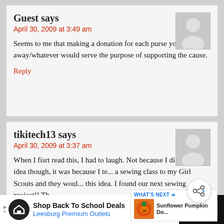Guest says
April 30, 2009 at 3:49 am
Seems to me that making a donation for each purse you sell/give away/whatever would serve the purpose of supporting the cause.
Reply
tikitech13 says
April 30, 2009 at 3:37 am
When I fisrt read this, I had to laugh. Not because I didn't like the idea though, it was because I te... a sewing class to my Girl Scouts and they woul... this idea. I found our next sewing project!! Th...
Reply
Shop Back To School Deals Leesburg Premium Outlets